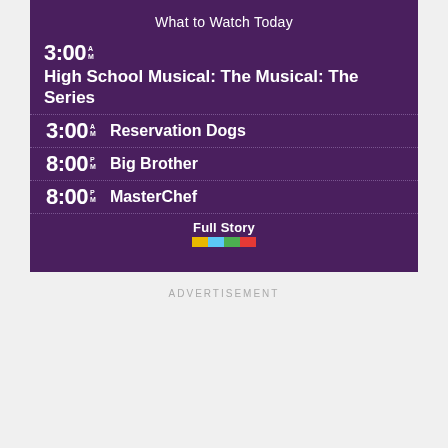What to Watch Today
3:00 AM  High School Musical: The Musical: The Series
3:00 AM  Reservation Dogs
8:00 PM  Big Brother
8:00 PM  MasterChef
Full Story
ADVERTISEMENT